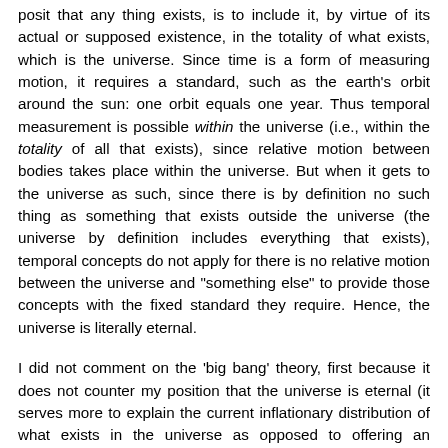posit that any thing exists, is to include it, by virtue of its actual or supposed existence, in the totality of what exists, which is the universe. Since time is a form of measuring motion, it requires a standard, such as the earth's orbit around the sun: one orbit equals one year. Thus temporal measurement is possible within the universe (i.e., within the totality of all that exists), since relative motion between bodies takes place within the universe. But when it gets to the universe as such, since there is by definition no such thing as something that exists outside the universe (the universe by definition includes everything that exists), temporal concepts do not apply for there is no relative motion between the universe and "something else" to provide those concepts with the fixed standard they require. Hence, the universe is literally eternal.
I did not comment on the 'big bang' theory, first because it does not counter my position that the universe is eternal (it serves more to explain the current inflationary distribution of what exists in the universe as opposed to offering an explanation for existence as such), and also because I tend to take such theories with a heaping grain of salt; I am not